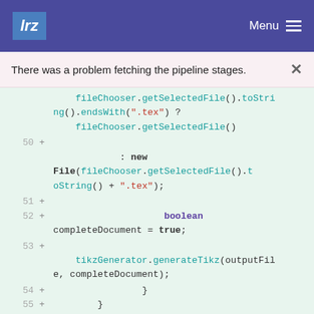lrz  Menu
There was a problem fetching the pipeline stages.
fileChooser.getSelectedFile().toString().endsWith(".tex") ?
fileChooser.getSelectedFile()
50  +
: new File(fileChooser.getSelectedFile().toString() + ".tex");
51  +
52  +  boolean completeDocument = true;
53  +  tikzGenerator.generateTikz(outputFile, completeDocument);
54  +  }
55  +  }
56  +
57  +  @Override
58  +  ...